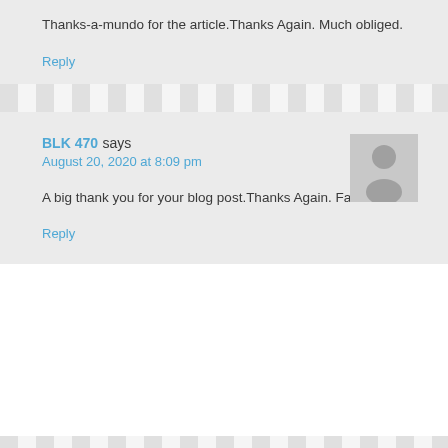Thanks-a-mundo for the article.Thanks Again. Much obliged.
Reply
BLK 470 says
August 20, 2020 at 8:09 pm
A big thank you for your blog post.Thanks Again. Fantastic.
Reply